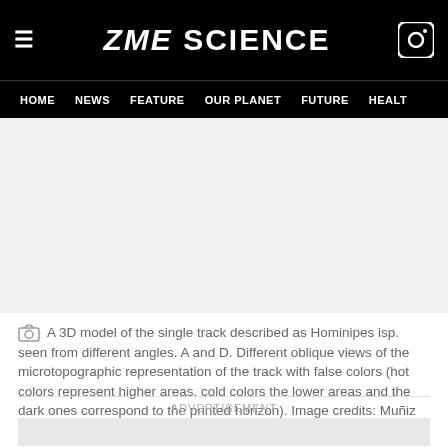ZME SCIENCE
HOME  NEWS  FEATURE  OUR PLANET  FUTURE  HEALTH
[Figure (photo): Blank image placeholder area for a 3D model of a Hominipes isp. track]
A 3D model of the single track described as Hominipes isp. seen from different angles. A and D. Different oblique views of the microtopographic representation of the track with false colors (hot colors represent higher areas, cold colors the lower areas and the dark ones correspond to the printed horizon). Image credits: Muñiz et al.
ADVERTISEMENT